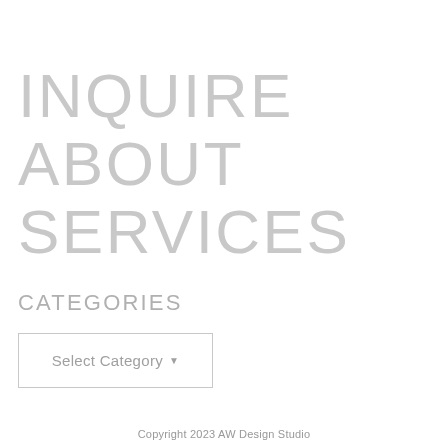INQUIRE ABOUT SERVICES
CATEGORIES
Select Category ▼
Copyright 2023 AW Design Studio